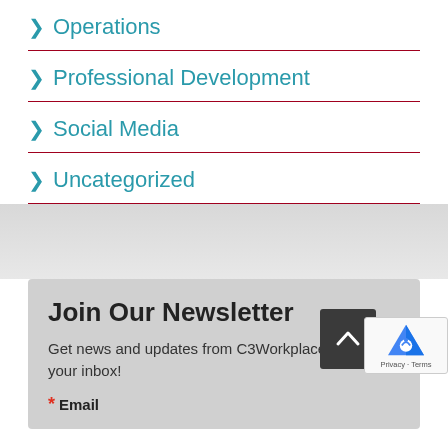> Operations
> Professional Development
> Social Media
> Uncategorized
Join Our Newsletter
Get news and updates from C3Workplace right into your inbox!
* Email